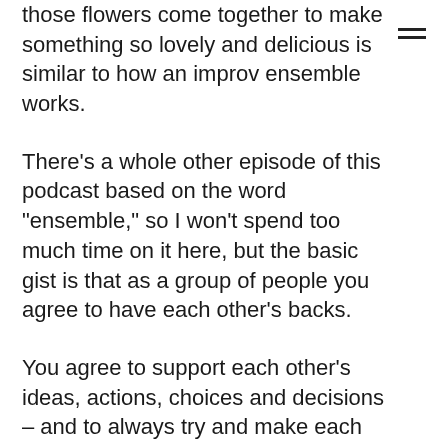those flowers come together to make something so lovely and delicious is similar to how an improv ensemble works.
There's a whole other episode of this podcast based on the word "ensemble," so I won't spend too much time on it here, but the basic gist is that as a group of people you agree to have each other's backs.
You agree to support each other's ideas, actions, choices and decisions – and to always try and make each other look good. And to accept failure as an opportunity to learn, to pivot and to move forward, together towards your common goal whether that be selling a million widgets or just